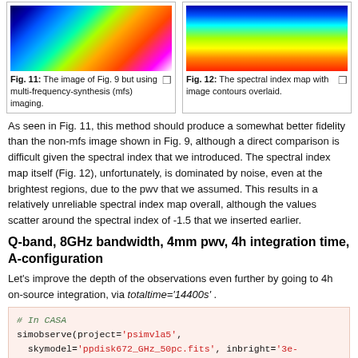[Figure (other): False-color radio image (Fig. 11) — multi-frequency-synthesis MFS imaging result]
Fig. 11: The image of Fig. 9 but using multi-frequency-synthesis (mfs) imaging.
[Figure (other): False-color spectral index map (Fig. 12) with image contours overlaid]
Fig. 12: The spectral index map with image contours overlaid.
As seen in Fig. 11, this method should produce a somewhat better fidelity than the non-mfs image shown in Fig. 9, although a direct comparison is difficult given the spectral index that we introduced. The spectral index map itself (Fig. 12), unfortunately, is dominated by noise, even at the brightest regions, due to the pwv that we assumed. This results in a relatively unreliable spectral index map overall, although the values scatter around the spectral index of -1.5 that we inserted earlier.
Q-band, 8GHz bandwidth, 4mm pwv, 4h integration time, A-configuration
Let's improve the depth of the observations even further by going to 4h on-source integration, via totaltime='14400s' .
# In CASA
simobserve(project='psimvla5',
skymodel='ppdisk672_GHz_50pc.fits', inbright='3e-